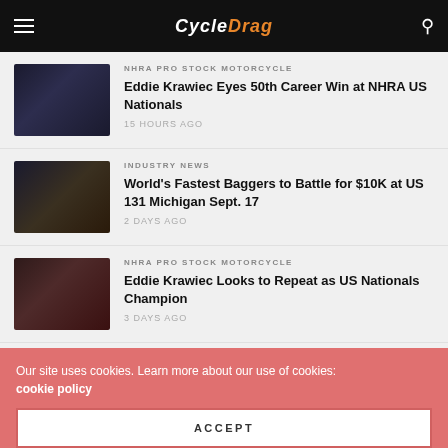CycleDrag
NHRA PRO STOCK MOTORCYCLE
Eddie Krawiec Eyes 50th Career Win at NHRA US Nationals
15 HOURS AGO
INDUSTRY NEWS
World's Fastest Baggers to Battle for $10K at US 131 Michigan Sept. 17
2 DAYS AGO
NHRA PRO STOCK MOTORCYCLE
Eddie Krawiec Looks to Repeat as US Nationals Champion
3 DAYS AGO
Our site uses cookies. Learn more about our use of cookies: cookie policy
ACCEPT